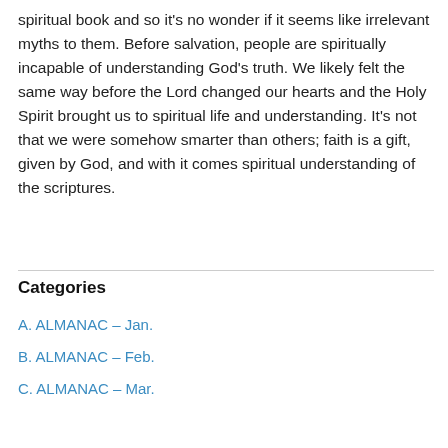spiritual book and so it's no wonder if it seems like irrelevant myths to them. Before salvation, people are spiritually incapable of understanding God's truth. We likely felt the same way before the Lord changed our hearts and the Holy Spirit brought us to spiritual life and understanding. It's not that we were somehow smarter than others; faith is a gift, given by God, and with it comes spiritual understanding of the scriptures.
Categories
A. ALMANAC – Jan.
B. ALMANAC – Feb.
C. ALMANAC – Mar.